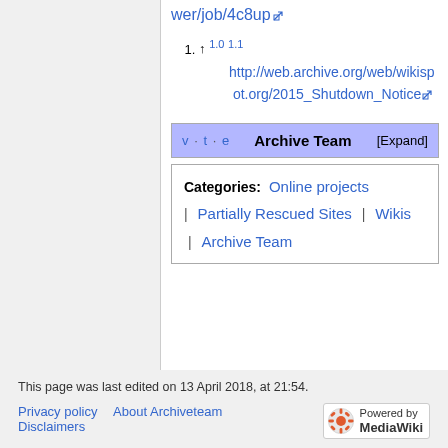wer/job/4c8up
1. ↑ 1.0 1.1 http://web.archive.org/web/wikispot.org/2015_Shutdown_Notice
| v · t · e | Archive Team | [Expand] |
| --- | --- | --- |
Categories: Online projects | Partially Rescued Sites | Wikis | Archive Team
This page was last edited on 13 April 2018, at 21:54.
Privacy policy   About Archiveteam   Disclaimers